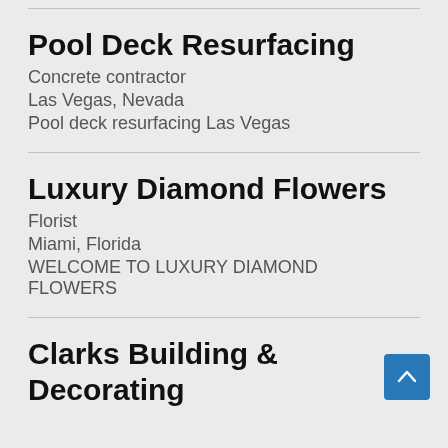Pool Deck Resurfacing
Concrete contractor
Las Vegas, Nevada
Pool deck resurfacing Las Vegas
Luxury Diamond Flowers
Florist
Miami, Florida
WELCOME TO LUXURY DIAMOND FLOWERS
Clarks Building & Decorating